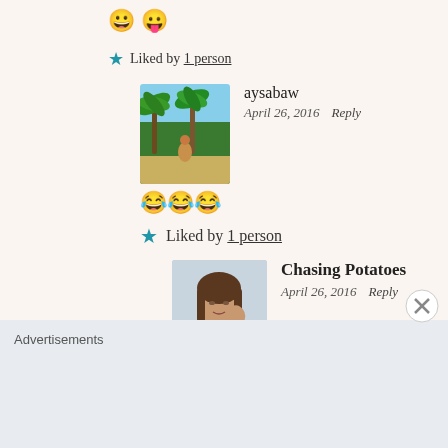😀😛
★ Liked by 1 person
aysabaw
April 26, 2016   Reply
[Figure (photo): Profile photo of aysabaw showing palm trees and tropical beach scene]
😂😂😂
★ Liked by 1 person
Chasing Potatoes
April 26, 2016   Reply
[Figure (photo): Profile photo of Chasing Potatoes showing a young woman]
😝😜😗😙😚😘
★ Like
Advertisements